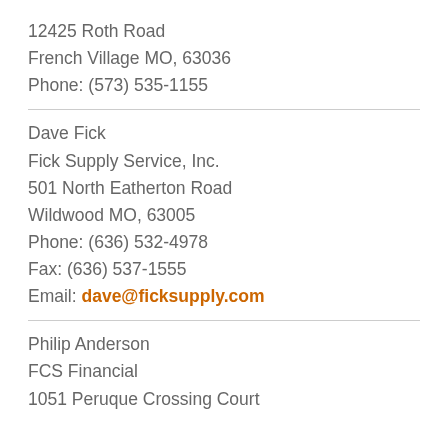12425 Roth Road
French Village MO, 63036
Phone: (573) 535-1155
Dave Fick
Fick Supply Service, Inc.
501 North Eatherton Road
Wildwood MO, 63005
Phone: (636) 532-4978
Fax: (636) 537-1555
Email: dave@ficksupply.com
Philip Anderson
FCS Financial
1051 Peruque Crossing Court